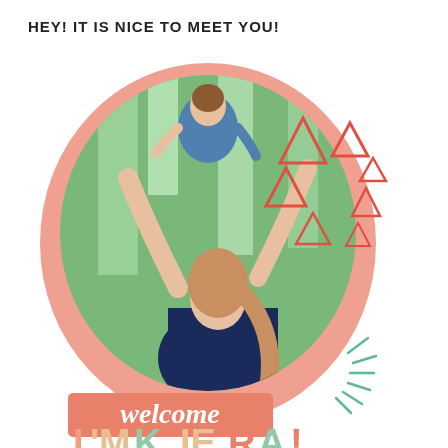HEY! IT IS NICE TO MEET YOU!
[Figure (illustration): Circular photo of a woman holding a baby up in the air outdoors in a park setting, surrounded by a salmon/coral colored oval background shape, with decorative red/coral triangle outlines scattered to the right, and green dash/ray decorative elements at bottom right. Below the photo is a coral rectangle banner with 'welcome' in white italic text, and below that colorful lettering reading I'M KIERA!]
welcome
I'M KIERA!